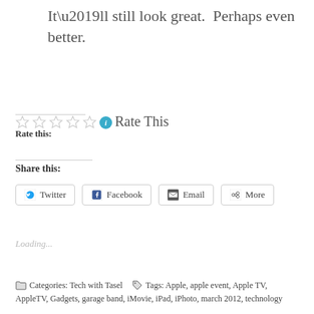It’ll still look great.  Perhaps even better.
Rate this:
Rate This
Share this:
Loading...
Categories: Tech with Tasel   Tags: Apple, apple event, Apple TV, AppleTV, Gadgets, garage band, iMovie, iPad, iPhoto, march 2012, technology